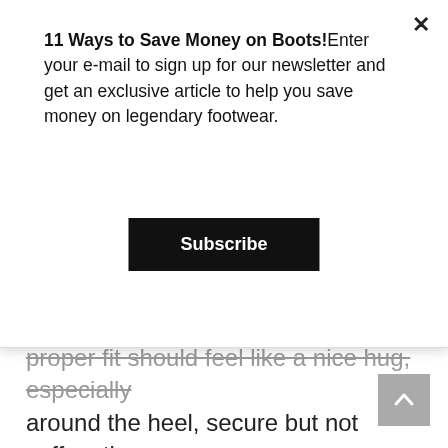[Figure (screenshot): Modal popup overlay with newsletter signup. Title: '11 Ways to Save Money on Boots!' followed by 'Enter your e-mail to sign up for our newsletter and get an exclusive article to help you save money on legendary footwear.' with a black 'Subscribe' button and an X close button.]
proper fit should feel like a nice hug, especially around the heel, secure but not suffocating.
Once you get the last/size down, comfort comes from day one. A properly fitting Service Boot feels like a tailored suit, and though the construction is rock-solid, break-in is minimal and generally limited to the softening of the outsoles. As previously noted, these are more of a lace-to-fit